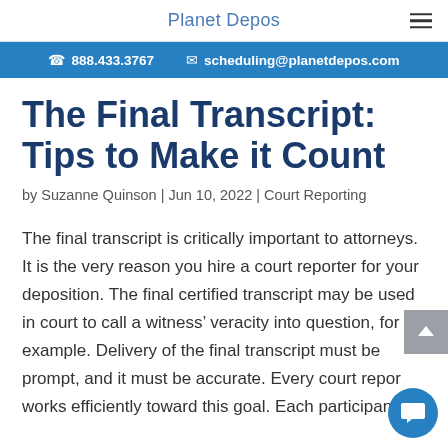Planet Depos
888.433.3767  scheduling@planetdepos.com
The Final Transcript: Tips to Make it Count
by Suzanne Quinson | Jun 10, 2022 | Court Reporting
The final transcript is critically important to attorneys. It is the very reason you hire a court reporter for your deposition. The final certified transcript may be used in court to call a witness’ veracity into question, for example. Delivery of the final transcript must be prompt, and it must be accurate. Every court reporter works efficiently toward this goal. Each participant in